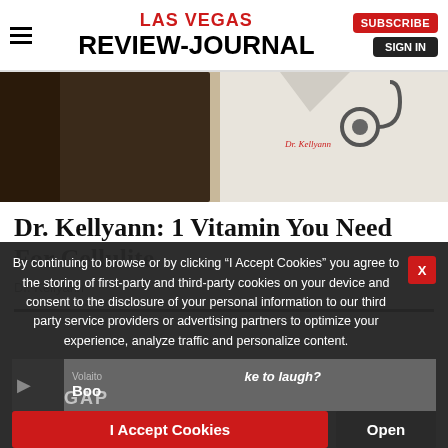LAS VEGAS REVIEW-JOURNAL
[Figure (photo): Partial photo showing a person in a white coat with stethoscope and green foliage in background]
Dr. Kellyann: 1 Vitamin You Need For Cellulite
Dr. Kellyann
By continuing to browse or by clicking “I Accept Cookies” you agree to the storing of first-party and third-party cookies on your device and consent to the disclosure of your personal information to our third party service providers or advertising partners to optimize your experience, analyze traffic and personalize content.
I Accept Cookies
Open